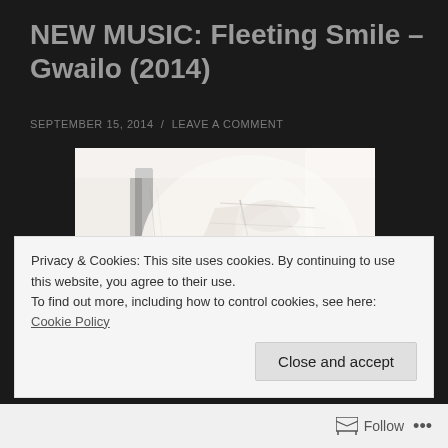NEW MUSIC: Fleeting Smile – Gwailo (2014)
SEPTEMBER 15, 2014 / LEAVE A COMMENT
[Figure (photo): Black and white artistic photograph of a face/mask profile, high-key lighting, mostly white tones with subtle facial features visible]
Privacy & Cookies: This site uses cookies. By continuing to use this website, you agree to their use.
To find out more, including how to control cookies, see here: Cookie Policy
Close and accept
Follow